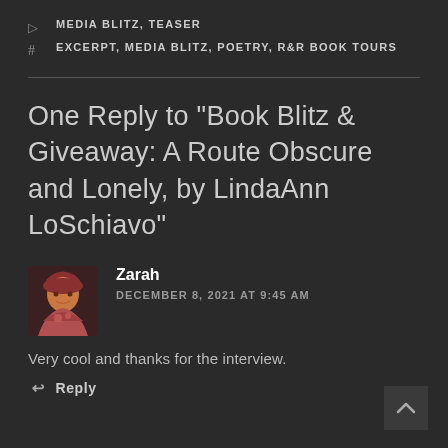MEDIA BLITZ, TEASER
EXCERPT, MEDIA BLITZ, POETRY, R&R BOOK TOURS
One Reply to “Book Blitz & Giveaway: A Route Obscure and Lonely, by LindaAnn LoSchiavo”
Zarah
DECEMBER 8, 2021 AT 9:45 AM
Very cool and thanks for the interview.
Reply